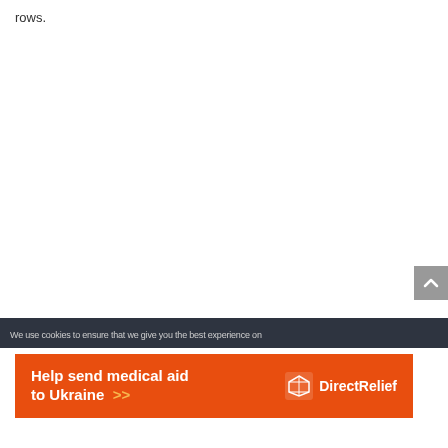rows.
[Figure (screenshot): Scroll-to-top button, gray square with upward chevron arrow]
We use cookies to ensure that we give you the best experience on
[Figure (infographic): Orange advertisement banner: 'Help send medical aid to Ukraine >>' with Direct Relief logo on the right]